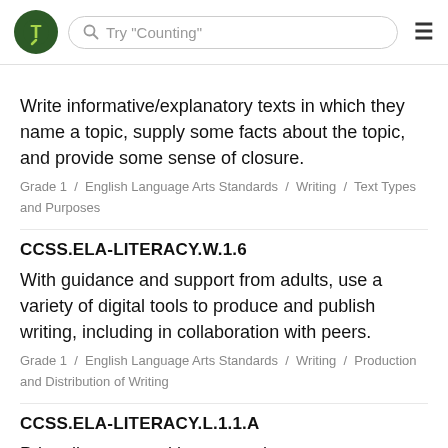Try "Counting"
Write informative/explanatory texts in which they name a topic, supply some facts about the topic, and provide some sense of closure.
Grade 1 / English Language Arts Standards / Writing / Text Types and Purposes
CCSS.ELA-LITERACY.W.1.6
With guidance and support from adults, use a variety of digital tools to produce and publish writing, including in collaboration with peers.
Grade 1 / English Language Arts Standards / Writing / Production and Distribution of Writing
CCSS.ELA-LITERACY.L.1.1.A
Print all upper- and lowercase letters.